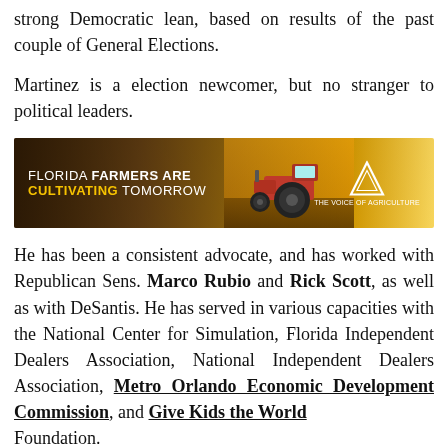strong Democratic lean, based on results of the past couple of General Elections.
Martinez is a election newcomer, but no stranger to political leaders.
[Figure (illustration): Advertisement banner: 'Florida Farmers Are Cultivating Tomorrow' with a tractor image and farm association logo 'THE VOICE OF AGRICULTURE']
He has been a consistent advocate, and has worked with Republican Sens. Marco Rubio and Rick Scott, as well as with DeSantis. He has served in various capacities with the National Center for Simulation, Florida Independent Dealers Association, National Independent Dealers Association, Metro Orlando Economic Development Commission, and Give Kids the World Foundation.